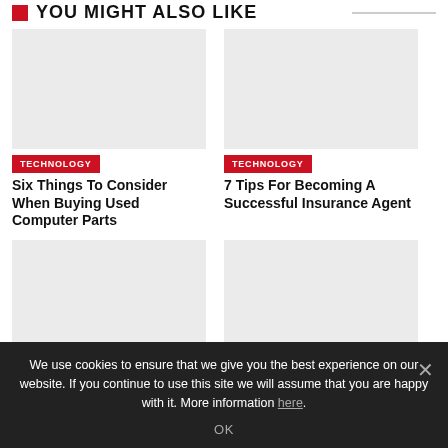YOU MIGHT ALSO LIKE
[Figure (photo): Gray placeholder image for article about computer parts]
TECHNOLOGY
Six Things To Consider When Buying Used Computer Parts
[Figure (photo): Gray placeholder image for article about insurance agent]
TECHNOLOGY
7 Tips For Becoming A Successful Insurance Agent
[Figure (photo): Gray placeholder image for third article]
[Figure (photo): Gray placeholder image for fourth article]
We use cookies to ensure that we give you the best experience on our website. If you continue to use this site we will assume that you are happy with it. More information here.
OK